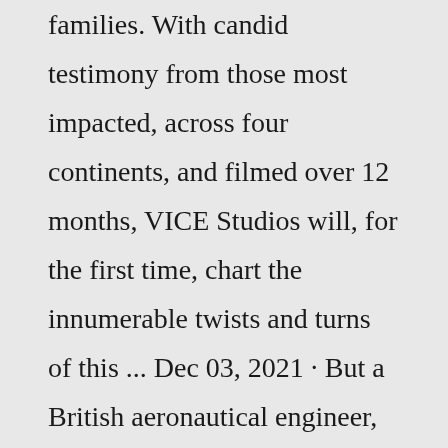families. With candid testimony from those most impacted, across four continents, and filmed over 12 months, VICE Studios will, for the first time, chart the innumerable twists and turns of this ... Dec 03, 2021 · But a British aeronautical engineer, who has spent more than a year working on the disaster, thinks he has calculated where MH370 crashed. Richard Godfrey believes the Boeing 777 crashed into the ... Feb 23, 2022 · A new documentary released by Sky